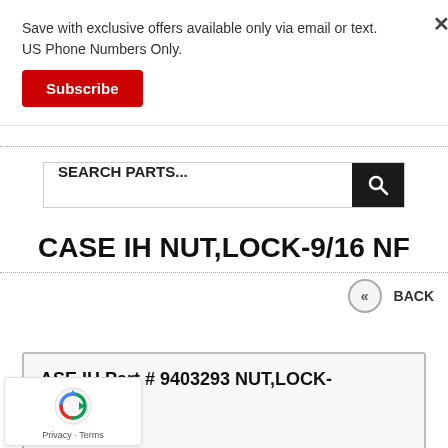Save with exclusive offers available only via email or text. US Phone Numbers Only.
Subscribe
[Figure (screenshot): Search bar with placeholder text SEARCH PARTS... and black search icon button]
CASE IH NUT,LOCK-9/16 NF
<< BACK
ASE IH Part # 9403293 NUT,LOCK-9/16 NF